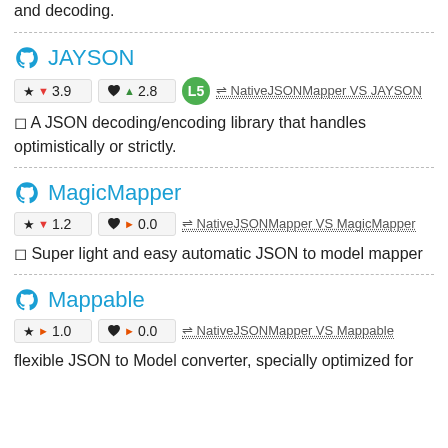and decoding.
JAYSON
★ ▼ 3.9   ❤ ▲ 2.8   L5   ⇌ NativeJSONMapper VS JAYSON
◻ A JSON decoding/encoding library that handles optimistically or strictly.
MagicMapper
★ ▼ 1.2   ❤ ▶ 0.0   ⇌ NativeJSONMapper VS MagicMapper
◻ Super light and easy automatic JSON to model mapper
Mappable
★ ▶ 1.0   ❤ ▶ 0.0   ⇌ NativeJSONMapper VS Mappable
flexible JSON to Model converter, specially optimized for